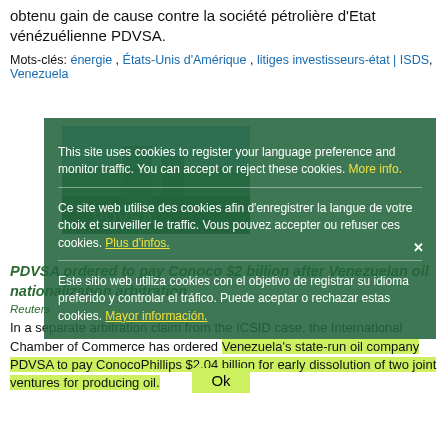obtenu gain de cause contre la société pétrolière d'Etat vénézuélienne PDVSA.
Mots-clés: énergie , États-Unis d'Amérique , litiges investisseurs-état | ISDS, Venezuela
[Figure (photo): Partial photo of industrial/oil facility building with PDVSA branding, partially obscured by cookie consent overlay]
This site uses cookies to register your language preference and monitor traffic. You can accept or reject these cookies. More info.
Ce site web utilise des cookies afin d'enregistrer la langue de votre choix et surveiller le traffic. Vous pouvez accepter ou refuser ces cookies. Plus d'infos.
Este sitio web utiliza cookies con el objetivo de registrar su idioma preferido y controlar el tráfico. Puede aceptar o rechazar estas cookies. Mayor información.
PDVSA ordered to pay Conoco $2 billion after Venezuelan oil nationalization arbitration
Reuters
In a separate arbitration claim from the ICSID case, the International Chamber of Commerce has ordered Venezuela's state-run oil company PDVSA to pay ConocoPhillips $2.04 billion for early dissolution of two joint ventures for producing oil.